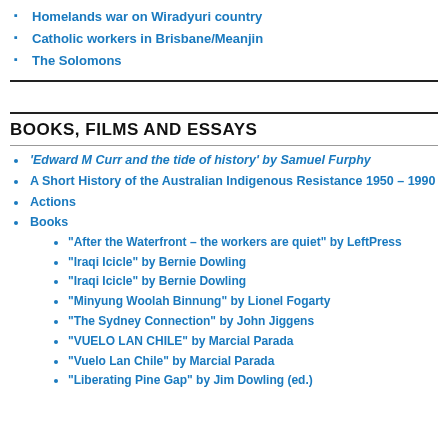Homelands war on Wiradyuri country
Catholic workers in Brisbane/Meanjin
The Solomons
BOOKS, FILMS AND ESSAYS
'Edward M Curr and the tide of history' by Samuel Furphy
A Short History of the Australian Indigenous Resistance 1950 – 1990
Actions
Books
"After the Waterfront – the workers are quiet" by LeftPress
"Iraqi Icicle" by Bernie Dowling
"Iraqi Icicle" by Bernie Dowling
"Minyung Woolah Binnung" by Lionel Fogarty
"The Sydney Connection" by John Jiggens
"VUELO LAN CHILE" by Marcial Parada
"Vuelo Lan Chile" by Marcial Parada
"Liberating Pine Gap" by Jim Dowling (ed.)